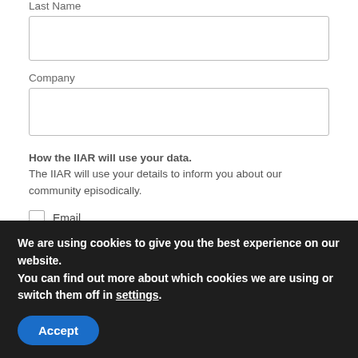Last Name
Company
How the IIAR will use your data.
The IIAR will use your details to inform you about our community episodically.
Email
You can unsubscribe at any time by clicking the link in the footer of our emails. For information about our privacy practices, please visit our website.
We are using cookies to give you the best experience on our website.
You can find out more about which cookies we are using or switch them off in settings.
Accept